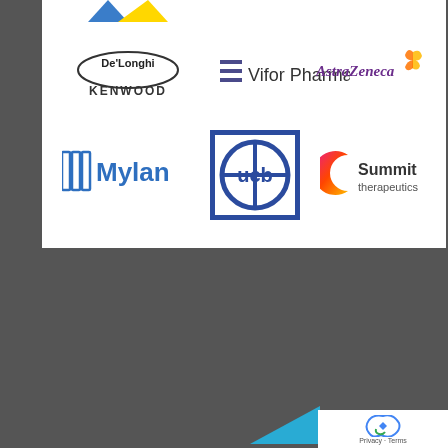[Figure (logo): DeLonghi Kenwood logo - oval bordered text DeLonghi above KENWOOD]
[Figure (logo): Vifor Pharma logo - three horizontal lines followed by Vifor Pharma text]
[Figure (logo): AstraZeneca logo with butterfly icon]
[Figure (logo): Mylan logo with blue vertical bars and Mylan text]
[Figure (logo): UCB logo - square divided into quadrants with ucb text]
[Figure (logo): Summit therapeutics logo with crescent moon gradient icon]
[Figure (other): reCAPTCHA widget with Privacy and Terms links]